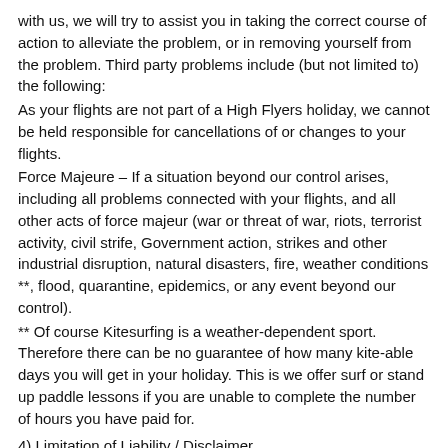with us, we will try to assist you in taking the correct course of action to alleviate the problem, or in removing yourself from the problem. Third party problems include (but not limited to) the following:
As your flights are not part of a High Flyers holiday, we cannot be held responsible for cancellations of or changes to your flights.
Force Majeure – If a situation beyond our control arises, including all problems connected with your flights, and all other acts of force majeur (war or threat of war, riots, terrorist activity, civil strife, Government action, strikes and other industrial disruption, natural disasters, fire, weather conditions **, flood, quarantine, epidemics, or any event beyond our control).
** Of course Kitesurfing is a weather-dependent sport. Therefore there can be no guarantee of how many kite-able days you will get in your holiday. This is we offer surf or stand up paddle lessons if you are unable to complete the number of hours you have paid for.
4) Limitation of Liability / Disclaimer
High Flyers cannot be held responsible for any loss or damage arising from any matter outside the reasonable control of High Flyers including (but not limited to) war or